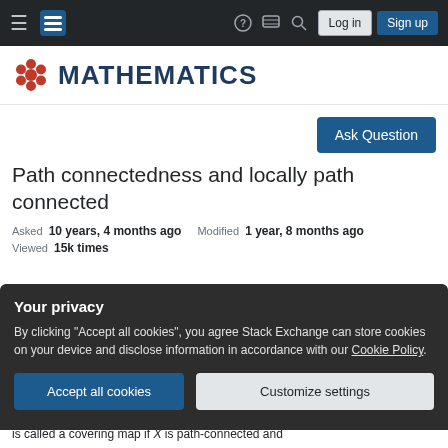Mathematics Stack Exchange navigation bar with hamburger menu, logo, help, chat, search icons, Log in and Sign up buttons
[Figure (logo): Mathematics Stack Exchange logo: red hexagonal snowflake icon followed by bold dark blue MATHEMATICS text]
Ask Question
Path connectedness and locally path connected
Asked 10 years, 4 months ago   Modified 1 year, 8 months ago
Viewed 15k times
Your privacy
By clicking "Accept all cookies", you agree Stack Exchange can store cookies on your device and disclose information in accordance with our Cookie Policy.
Accept all cookies
Customize settings
is called a covering map if X is path-connected and